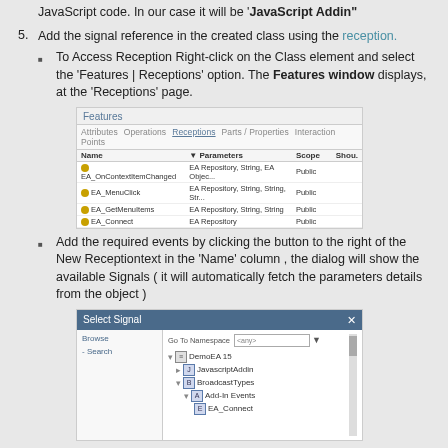JavaScript code. In our case it will be 'JavaScript Addin"
5. Add the signal reference in the created class using the reception.
To Access Reception Right-click on the Class element and select the 'Features | Receptions' option. The Features window displays, at the 'Receptions' page.
[Figure (screenshot): Features window screenshot showing a table with columns Name, Parameters, Scope, Shou. with rows: EA_OnContextItemChanged, EA_MenuClick, EA_GetMenuItems, EA_Connect]
Add the required events by clicking the button to the right of the New Receptiontext in the 'Name' column , the dialog will show the available Signals ( it will automatically fetch the parameters details from the object )
[Figure (screenshot): Select Signal dialog showing Browse and Search options on the left, and a tree with DemoEA 15, JavascriptAddin, BroadcastTypes, Add-In Events, EA_Connect on the right]